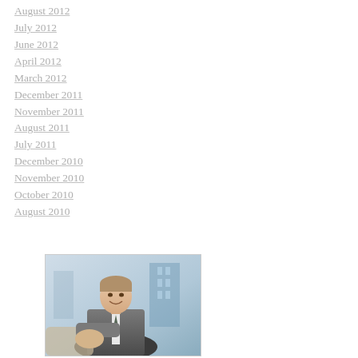August 2012
July 2012
June 2012
April 2012
March 2012
December 2011
November 2011
August 2011
July 2011
December 2010
November 2010
October 2010
August 2010
[Figure (photo): A smiling businessman in a grey suit shaking hands, with a blurred office building background]